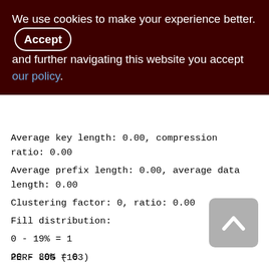We use cookies to make your experience better. By accepting and further navigating this website you accept our policy.
Average key length: 0.00, compression ratio: 0.00
Average prefix length: 0.00, average data length: 0.00
Clustering factor: 0, ratio: 0.00
Fill distribution:
0 - 19% = 1
20 - 39% = 0
40 - 59% = 0
60 - 79% = 0
80 - 99% = 0
PERF LOG (163)